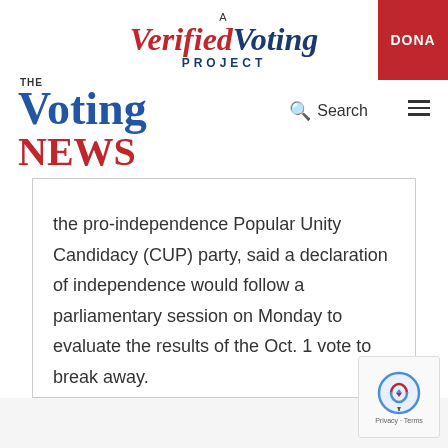[Figure (logo): A Verified Voting Project logo with red 'Verified' and blue 'Voting' in italic serif font, 'PROJECT' in blue capitals below]
[Figure (logo): Red DONATE button in top right corner]
[Figure (logo): The Voting News logo — 'THE' in small caps, 'Voting' in blue serif, 'NEWS' in red serif]
Search
the pro-independence Popular Unity Candidacy (CUP) party, said a declaration of independence would follow a parliamentary session on Monday to evaluate the results of the Oct. 1 vote to break away.